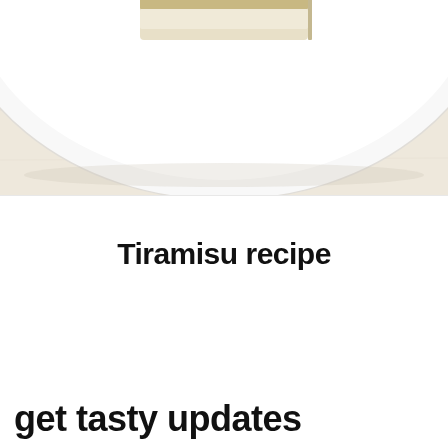[Figure (photo): Partial view of a white plate with a slice of tiramisu on a light wood surface, cropped at the top of the page]
Tiramisu recipe
get tasty updates